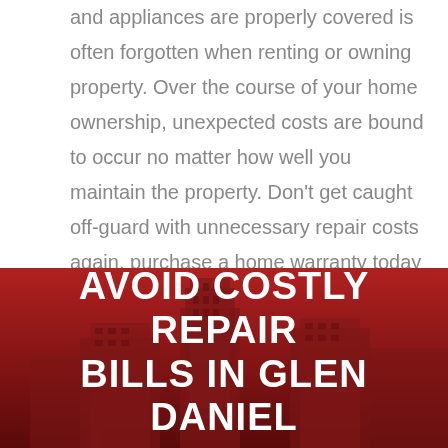and appliances are properly covered is often forgotten when renting or owning property. Over the course of your home ownership, unexpected costs are bound to occur no matter how well you maintain the property. Don't get caught off-guard with unnecessary repair costs again, purchase a home warranty today to ensure optimal protection for your property.
[Figure (photo): City skyline with tall buildings against a dark red gradient background]
AVOID COSTLY REPAIR BILLS IN GLEN DANIEL